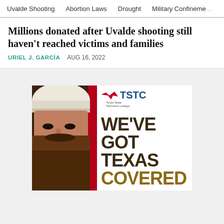Uvalde Shooting  Abortion Laws  Drought  Military Confinement
Millions donated after Uvalde shooting still haven't reached victims and families
URIEL J. GARCÍA   AUG 16, 2022
[Figure (photo): Advertisement for Texas State Technical College (TSTC) showing a bearded man wearing a white hard hat on the left side with a red vertical bar, and on the right the TSTC logo with text reading WE'VE GOT TEXAS COVERED]